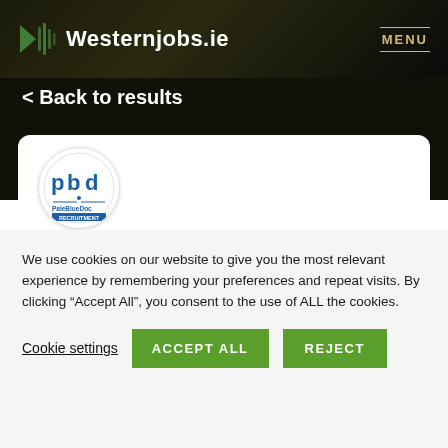Westernjobs.ie  MENU
< Back to results
[Figure (logo): PaleBlueDoc Recruitment circular logo with stylized pbd letters in blue]
R&D Design/Development Engineer
We use cookies on our website to give you the most relevant experience by remembering your preferences and repeat visits. By clicking “Accept All”, you consent to the use of ALL the cookies.
Cookie settings  ACCEPT ALL  REJECT